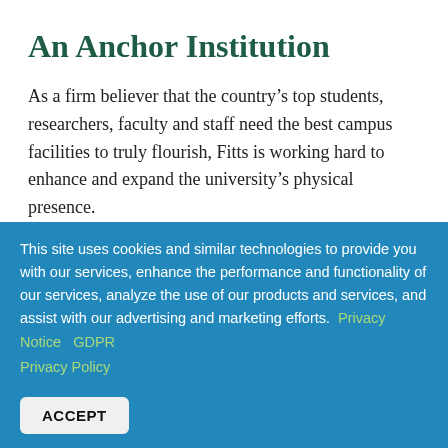An Anchor Institution
As a firm believer that the country’s top students, researchers, faculty and staff need the best campus facilities to truly flourish, Fitts is working hard to enhance and expand the university’s physical presence.
This site uses cookies and similar technologies to provide you with our services, enhance the performance and functionality of our services, analyze the use of our products and services, and assist with our advertising and marketing efforts.  Privacy Notice   GDPR Privacy Policy
ACCEPT